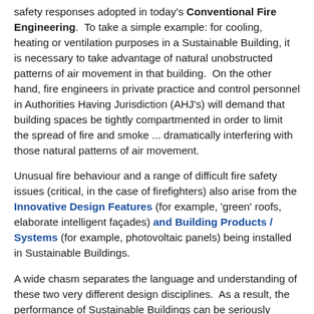safety responses adopted in today's Conventional Fire Engineering. To take a simple example: for cooling, heating or ventilation purposes in a Sustainable Building, it is necessary to take advantage of natural unobstructed patterns of air movement in that building. On the other hand, fire engineers in private practice and control personnel in Authorities Having Jurisdiction (AHJ's) will demand that building spaces be tightly compartmented in order to limit the spread of fire and smoke ... dramatically interfering with those natural patterns of air movement.
Unusual fire behaviour and a range of difficult fire safety issues (critical, in the case of firefighters) also arise from the Innovative Design Features (for example, 'green' roofs, elaborate intelligent façades) and Building Products / Systems (for example, photovoltaic panels) being installed in Sustainable Buildings.
A wide chasm separates the language and understanding of these two very different design disciplines. As a result, the performance of Sustainable Buildings can be seriously